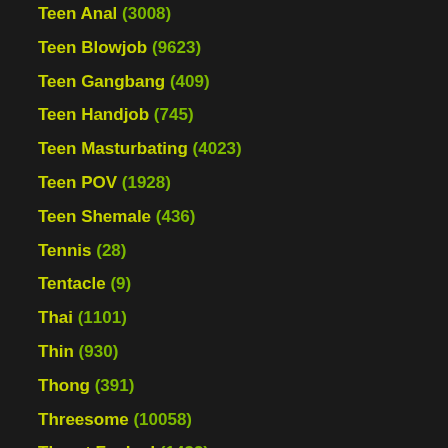Teen Anal (3008)
Teen Blowjob (9623)
Teen Gangbang (409)
Teen Handjob (745)
Teen Masturbating (4023)
Teen POV (1928)
Teen Shemale (436)
Tennis (28)
Tentacle (9)
Thai (1101)
Thin (930)
Thong (391)
Threesome (10058)
Throat Fucked (1432)
Tickling (92)
Tied (592)